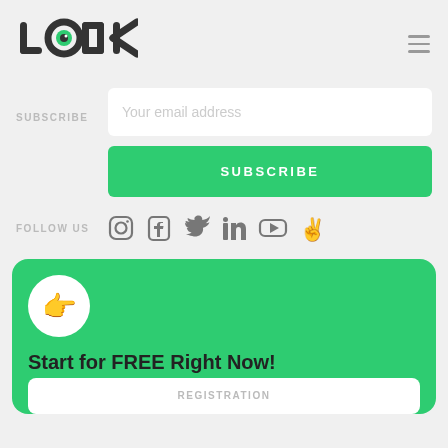[Figure (logo): LOOK logo with stylized letters, 'oo' as camera/eye icon in green and dark]
SUBSCRIBE
Your email address
SUBSCRIBE
FOLLOW US
[Figure (infographic): Social media icons: Instagram, Facebook, Twitter, LinkedIn, YouTube, and peace hand emoji]
[Figure (infographic): Green card with pointing hand emoji circle, text Start for FREE Right Now!, and REGISTRATION input box partially visible]